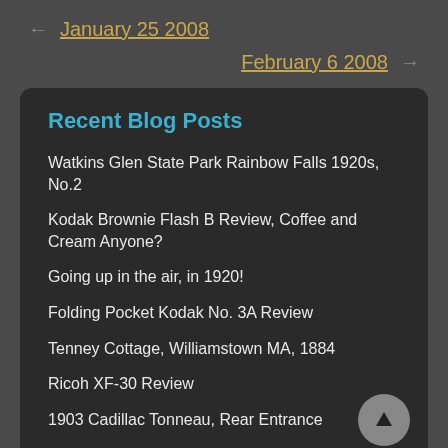← January 25 2008
February 6 2008 →
Recent Blog Posts
Watkins Glen State Park Rainbow Falls 1920s, No.2
Kodak Brownie Flash B Review, Coffee and Cream Anyone?
Going up in the air, in 1920!
Folding Pocket Kodak No. 3A Review
Tenney Cottage, Williamstown MA, 1884
Ricoh XF-30 Review
1903 Cadillac Tonneau, Rear Entrance